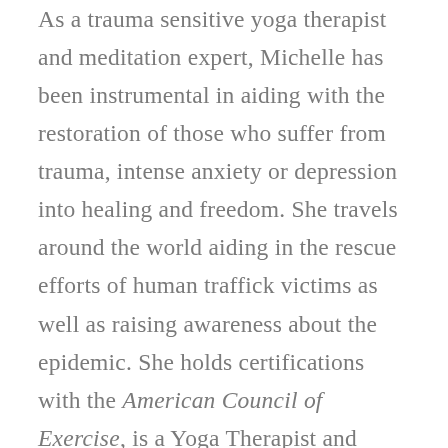As a trauma sensitive yoga therapist and meditation expert, Michelle has been instrumental in aiding with the restoration of those who suffer from trauma, intense anxiety or depression into healing and freedom. She travels around the world aiding in the rescue efforts of human traffick victims as well as raising awareness about the epidemic. She holds certifications with the American Council of Exercise, is a Yoga Therapist and founded the Christian Yoga Association in 2018, to build a bridge between faith-based yoga practitioners and educators, as well as YogaFaith in 2013.
She has 3 200-hour Certifications, 3 500-hour